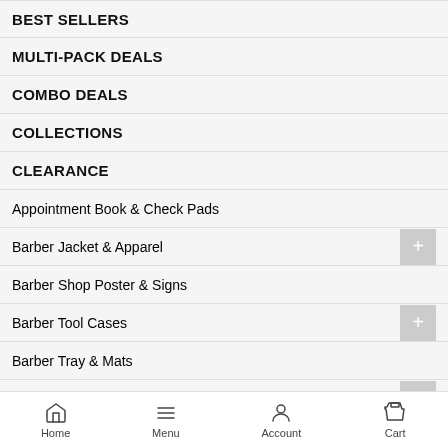BEST SELLERS
MULTI-PACK DEALS
COMBO DEALS
COLLECTIONS
CLEARANCE
Appointment Book & Check Pads
Barber Jacket & Apparel
Barber Shop Poster & Signs
Barber Tool Cases
Barber Tray & Mats
Beard Care
Clipper & Trimmers
Clipper & Trimmer Accessories
Home   Menu   Account   Cart